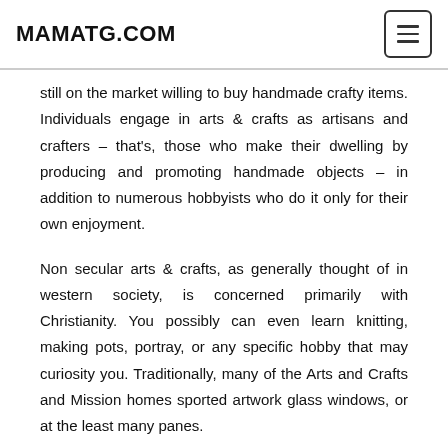MAMATG.COM
still on the market willing to buy handmade crafty items. Individuals engage in arts & crafts as artisans and crafters – that's, those who make their dwelling by producing and promoting handmade objects – in addition to numerous hobbyists who do it only for their own enjoyment.
Non secular arts & crafts, as generally thought of in western society, is concerned primarily with Christianity. You possibly can even learn knitting, making pots, portray, or any specific hobby that may curiosity you. Traditionally, many of the Arts and Crafts and Mission homes sported artwork glass windows, or at the least many panes.
art and craft for preschool images, art and craft